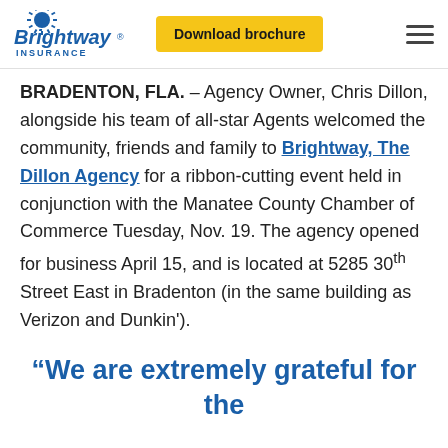[Figure (logo): Brightway Insurance logo with sun/burst icon and blue text, alongside a yellow 'Download brochure' button and a hamburger menu icon]
BRADENTON, FLA. – Agency Owner, Chris Dillon, alongside his team of all-star Agents welcomed the community, friends and family to Brightway, The Dillon Agency for a ribbon-cutting event held in conjunction with the Manatee County Chamber of Commerce Tuesday, Nov. 19. The agency opened for business April 15, and is located at 5285 30th Street East in Bradenton (in the same building as Verizon and Dunkin').
“We are extremely grateful for the